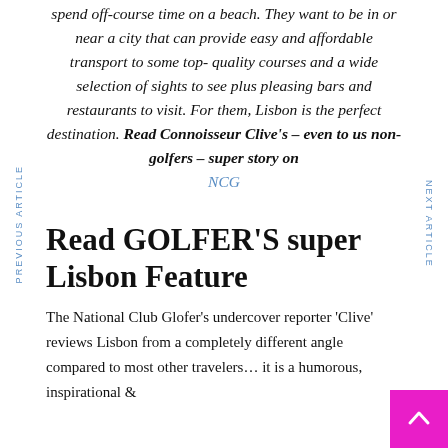spend off-course time on a beach. They want to be in or near a city that can provide easy and affordable transport to some top-quality courses and a wide selection of sights to see plus pleasing bars and restaurants to visit. For them, Lisbon is the perfect destination. Read Connoisseur Clive's – even to us non-golfers – super story on NCG
PREVIOUS ARTICLE
NEXT ARTICLE
Read GOLFER'S super Lisbon Feature
The National Club Glofer's undercover reporter 'Clive' reviews Lisbon from a completely different angle compared to most other travelers… it is a humorous, inspirational &